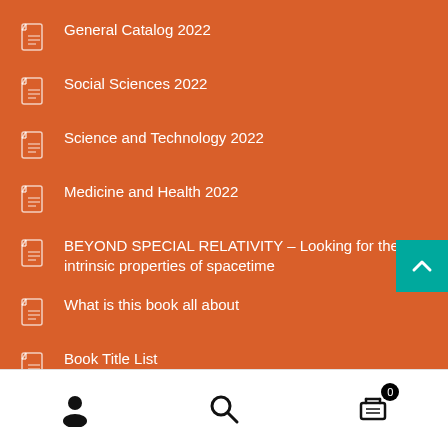General Catalog 2022
Social Sciences 2022
Science and Technology 2022
Medicine and Health 2022
BEYOND SPECIAL RELATIVITY – Looking for the intrinsic properties of spacetime
What is this book all about
Book Title List
Do we need Metal Matrix Composites in the future?
AI-Enabled IoT for Smart Healthcare Systems
User | Search | Cart (0)